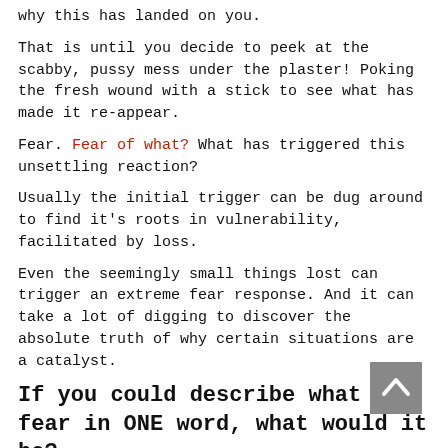why this has landed on you.
That is until you decide to peek at the scabby, pussy mess under the plaster! Poking the fresh wound with a stick to see what has made it re-appear.
Fear. Fear of what? What has triggered this unsettling reaction?
Usually the initial trigger can be dug around to find it's roots in vulnerability, facilitated by loss.
Even the seemingly small things lost can trigger an extreme fear response. And it can take a lot of digging to discover the absolute truth of why certain situations are a catalyst.
If you could describe what you fear in ONE word, what would it be?
BIG question, I know. And it's making me scratch my